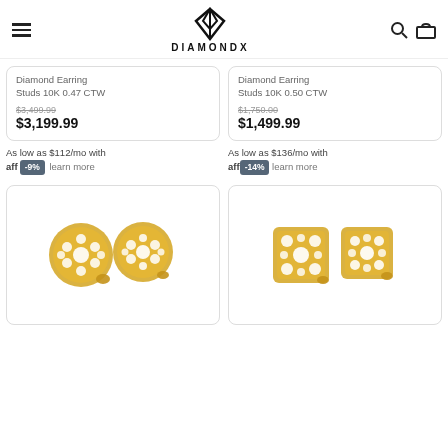DIAMONDX
Diamond Earring Studs 10K 0.47 CTW
$3,499.99
$3,199.99
Diamond Earring Studs 10K 0.50 CTW
$1,750.00
$1,499.99
As low as $112/mo with affirm -9% learn more
As low as $136/mo with affirm -14% learn more
[Figure (photo): Two round gold diamond cluster stud earrings with pavé-set diamonds]
[Figure (photo): Two square/cushion-shaped gold diamond cluster stud earrings with pavé-set diamonds]